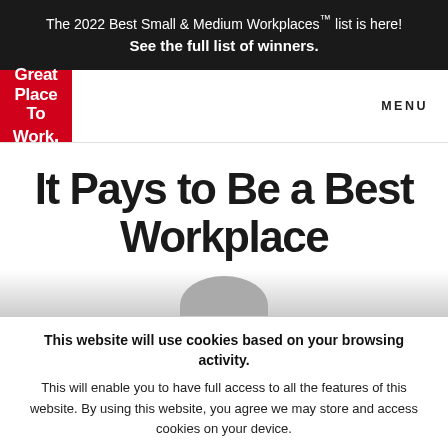The 2022 Best Small & Medium Workplaces™ list is here! See the full list of winners.
[Figure (logo): Great Place To Work logo — white text on red background]
MENU
It Pays to Be a Best Workplace
This website will use cookies based on your browsing activity.
This will enable you to have full access to all the features of this website. By using this website, you agree we may store and access cookies on your device.
I UNDERSTAND